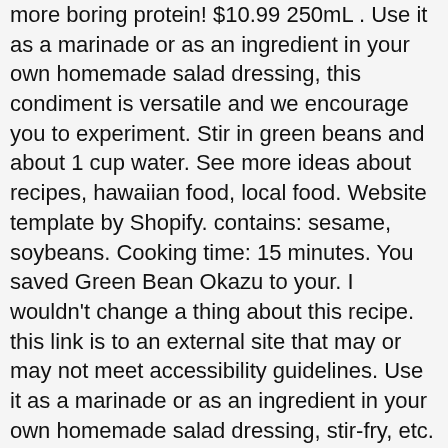more boring protein! $10.99 250mL . Use it as a marinade or as an ingredient in your own homemade salad dressing, this condiment is versatile and we encourage you to experiment. Stir in green beans and about 1 cup water. See more ideas about recipes, hawaiian food, local food. Website template by Shopify. contains: sesame, soybeans. Cooking time: 15 minutes. You saved Green Bean Okazu to your. I wouldn't change a thing about this recipe. this link is to an external site that may or may not meet accessibility guidelines. Use it as a marinade or as an ingredient in your own homemade salad dressing, stir-fry, etc. All products, I guess if your kids won't eat meat either they might this with the hamburger. refrigerate after opening. retail-only, Sign up to get the latest on sales, new releases and more..., © 2020 Abokichi. Cover, and cook until beans are tender, 15 to 20 minutes. Just stir into hot water for a savoury, complex soup base or just for sipping! Baked Avocado with Egg and Okazu. Gourmet Import Shop offers top quality gourmet foods including imports currently from places in South America, Europe, Japan and